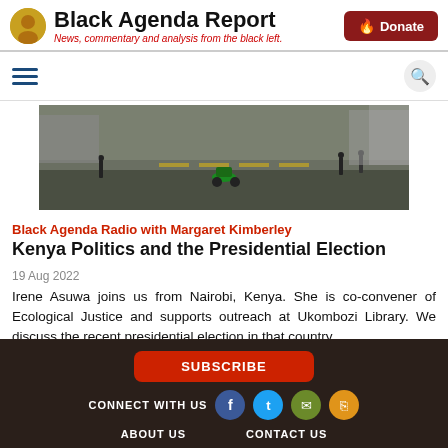Black Agenda Report — News, commentary and analysis from the black left.
[Figure (photo): Street scene in Nairobi, Kenya with motorcycles and people on a wide road]
Black Agenda Radio with Margaret Kimberley
Kenya Politics and the Presidential Election
19 Aug 2022
Irene Asuwa joins us from Nairobi, Kenya. She is co-convener of Ecological Justice and supports outreach at Ukombozi Library. We discuss the recent presidential election in that country.
SUBSCRIBE | CONNECT WITH US | ABOUT US | CONTACT US